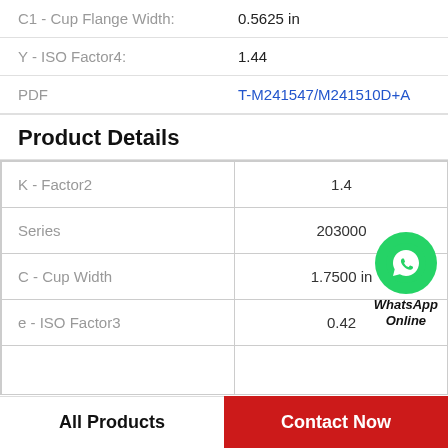| Property | Value |
| --- | --- |
| C1 - Cup Flange Width: | 0.5625 in |
| Y - ISO Factor4: | 1.44 |
| PDF | T-M241547/M241510D+A |
Product Details
| Property | Value |
| --- | --- |
| K - Factor2 | 1.4 |
| Series | 203000 |
| C - Cup Width | 1.7500 in |
| e - ISO Factor3 | 0.42 |
[Figure (logo): WhatsApp Online green circle logo with phone icon and text 'WhatsApp Online']
All Products
Contact Now